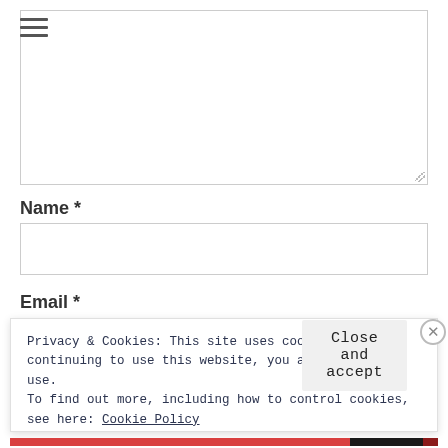[Figure (screenshot): Hamburger menu icon (three horizontal lines)]
[Figure (screenshot): Large textarea input box with resize handle in bottom-right corner]
Name *
[Figure (screenshot): Single-line text input box for Name field]
Email *
Privacy & Cookies: This site uses cookies. By continuing to use this website, you agree to their use.
To find out more, including how to control cookies, see here: Cookie Policy
Close and accept